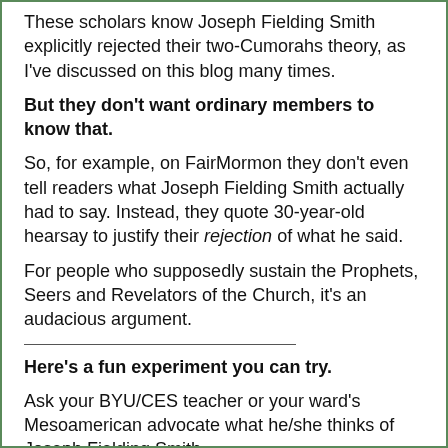These scholars know Joseph Fielding Smith explicitly rejected their two-Cumorahs theory, as I've discussed on this blog many times.
But they don't want ordinary members to know that.
So, for example, on FairMormon they don't even tell readers what Joseph Fielding Smith actually had to say. Instead, they quote 30-year-old hearsay to justify their rejection of what he said.
For people who supposedly sustain the Prophets, Seers and Revelators of the Church, it's an audacious argument.
Here's a fun experiment you can try.
Ask your BYU/CES teacher or your ward's Mesoamerican advocate what he/she thinks of Joseph Fielding Smith.
If necessary, remind them that he was a President of the Church, a President of the Quorum of the Twelve, and an apostle for 60 years before becoming President. He was...